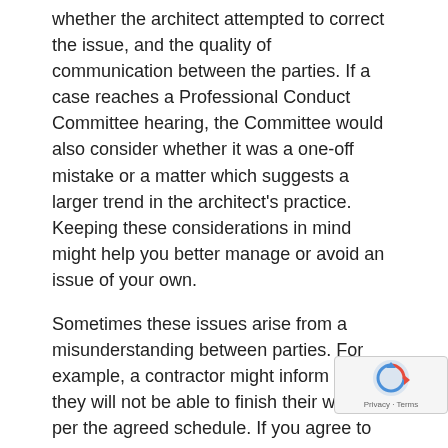whether the architect attempted to correct the issue, and the quality of communication between the parties. If a case reaches a Professional Conduct Committee hearing, the Committee would also consider whether it was a one-off mistake or a matter which suggests a larger trend in the architect's practice. Keeping these considerations in mind might help you better manage or avoid an issue of your own.
Sometimes these issues arise from a misunderstanding between parties. For example, a contractor might inform you they will not be able to finish their work as per the agreed schedule. If you agree to push the deadline but forget to update your client, they will be unaware of the reasons for the delay and could become frustrated. Good communication between the parties really underpins Standard 6. Good communication is good practice, can prevent misunderstandings and help reduce the risk of a complaint being raised against you.
We hope you found this advice useful. We are here to support you through regulation, and the Professional Standards team is